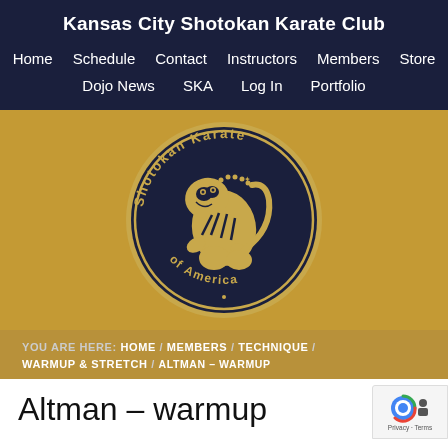Kansas City Shotokan Karate Club
Home  Schedule  Contact  Instructors  Members  Store  Dojo News  SKA  Log In  Portfolio
[Figure (logo): Shotokan Karate of America circular logo with tiger and gold lettering on navy blue background]
YOU ARE HERE: HOME / MEMBERS / TECHNIQUE / WARMUP & STRETCH / ALTMAN – WARMUP
Altman – warmup